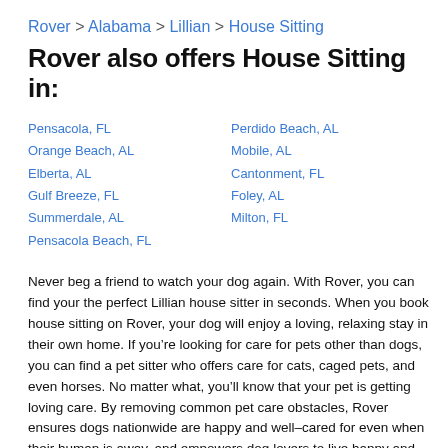Rover > Alabama > Lillian > House Sitting
Rover also offers House Sitting in:
Pensacola, FL
Orange Beach, AL
Elberta, AL
Gulf Breeze, FL
Summerdale, AL
Pensacola Beach, FL
Perdido Beach, AL
Mobile, AL
Cantonment, FL
Foley, AL
Milton, FL
Never beg a friend to watch your dog again. With Rover, you can find your the perfect Lillian house sitter in seconds. When you book house sitting on Rover, your dog will enjoy a loving, relaxing stay in their own home. If you’re looking for care for pets other than dogs, you can find a pet sitter who offers care for cats, caged pets, and even horses. No matter what, you’ll know that your pet is getting loving care. By removing common pet care obstacles, Rover ensures dogs nationwide are happy and well–cared for even when their human is away, and empowers dog lovers to live happy and fulfilling lives. Founded on the belief that everyone should have the opportunity to